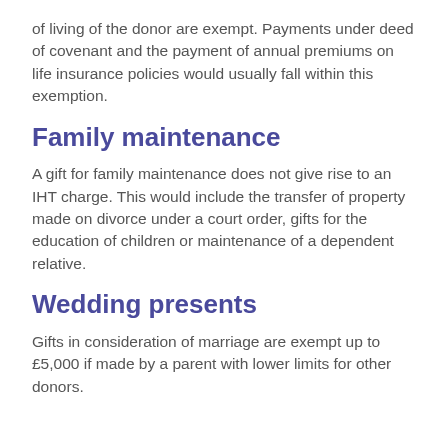of living of the donor are exempt. Payments under deed of covenant and the payment of annual premiums on life insurance policies would usually fall within this exemption.
Family maintenance
A gift for family maintenance does not give rise to an IHT charge. This would include the transfer of property made on divorce under a court order, gifts for the education of children or maintenance of a dependent relative.
Wedding presents
Gifts in consideration of marriage are exempt up to £5,000 if made by a parent with lower limits for other donors.